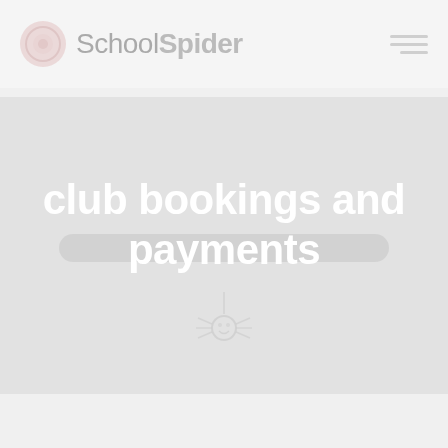[Figure (logo): SchoolSpider logo with circular icon on the left and text 'SchoolSpider' on the right, plus a hamburger menu icon on the far right]
club bookings and payments
[Figure (illustration): Small spider icon hanging from a thread below the hero text banner]